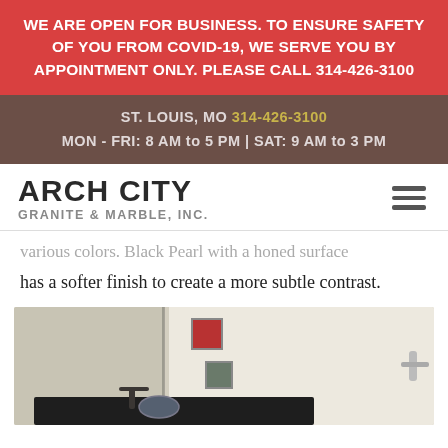WE ARE OPEN FOR BUSINESS. TO ENSURE SAFETY OF YOU FROM COVID-19, WE SERVE YOU BY APPOINTMENT ONLY. PLEASE CALL 314-426-3100
ST. LOUIS, MO 314-426-3100
MON - FRI: 8 AM to 5 PM | SAT: 9 AM to 3 PM
ARCH CITY GRANITE & MARBLE, INC.
various colors. Black Pearl with a honed surface has a softer finish to create a more subtle contrast.
[Figure (photo): Bathroom vanity with dark granite countertop, vessel sink, faucet, mirror, and wall art pieces]